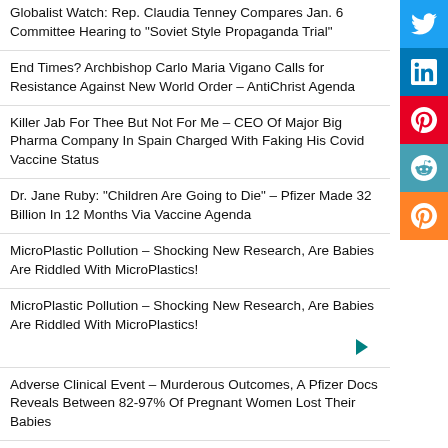Globalist Watch: Rep. Claudia Tenney Compares Jan. 6 Committee Hearing to “Soviet Style Propaganda Trial”
End Times? Archbishop Carlo Maria Vigano Calls for Resistance Against New World Order – AntiChrist Agenda
Killer Jab For Thee But Not For Me – CEO Of Major Big Pharma Company In Spain Charged With Faking His Covid Vaccine Status
Dr. Jane Ruby: “Children Are Going to Die” – Pfizer Made 32 Billion In 12 Months Via Vaccine Agenda
MicroPlastic Pollution – Shocking New Research, Are Babies Are Riddled With MicroPlastics!
MicroPlastic Pollution – Shocking New Research, Are Babies Are Riddled With MicroPlastics!
Adverse Clinical Event – Murderous Outcomes, A Pfizer Docs Reveals Between 82-97% Of Pregnant Women Lost Their Babies